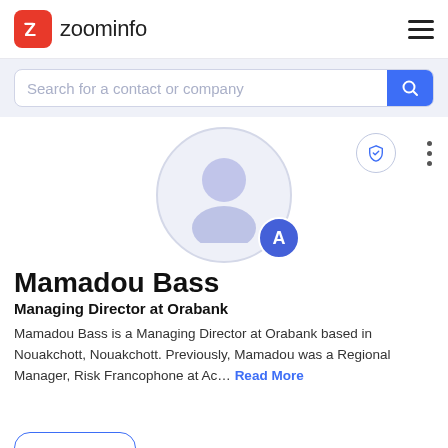zoominfo
Search for a contact or company
[Figure (illustration): Generic user avatar silhouette in light purple/lavender inside a circular border, with a blue badge circle containing the letter A in the lower right]
Mamadou Bass
Managing Director at Orabank
Mamadou Bass is a Managing Director at Orabank based in Nouakchott, Nouakchott. Previously, Mamadou was a Regional Manager, Risk Francophone at Ac... Read More